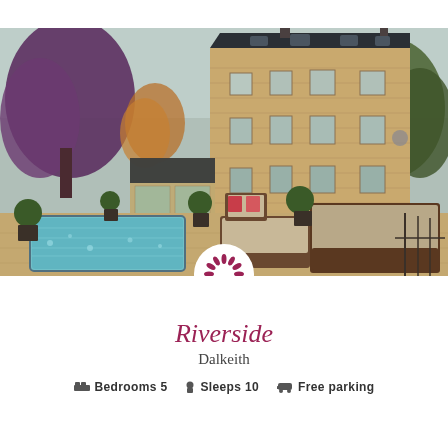[Figure (photo): Exterior photo of Riverside property in Dalkeith — a large stone mill building with dark slate roof, outdoor hot tub/pool, wicker patio furniture, autumn trees, and a white circular branded logo overlay at the bottom center]
Riverside
Dalkeith
Bedrooms 5   Sleeps 10   Free parking